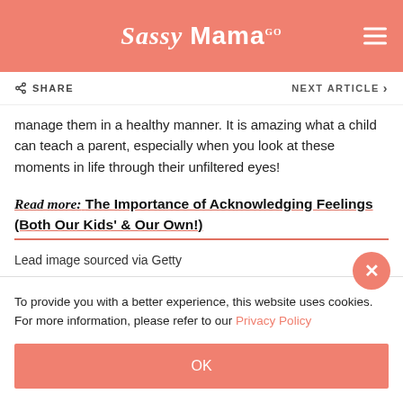Sassy Mama
manage them in a healthy manner. It is amazing what a child can teach a parent, especially when you look at these moments in life through their unfiltered eyes!
Read more: The Importance of Acknowledging Feelings (Both Our Kids' & Our Own!)
Lead image sourced via Getty
To provide you with a better experience, this website uses cookies. For more information, please refer to our Privacy Policy